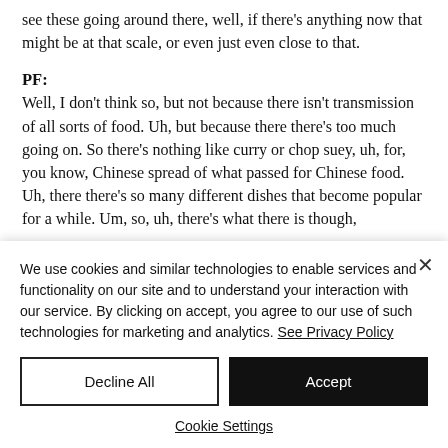see these going around there, well, if there's anything now that might be at that scale, or even just even close to that.
PF: Well, I don't think so, but not because there isn't transmission of all sorts of food. Uh, but because there there's too much going on. So there's nothing like curry or chop suey, uh, for, you know, Chinese spread of what passed for Chinese food. Uh, there there's so many different dishes that become popular for a while. Um, so, uh, there's what there is though,
We use cookies and similar technologies to enable services and functionality on our site and to understand your interaction with our service. By clicking on accept, you agree to our use of such technologies for marketing and analytics. See Privacy Policy
Decline All
Accept
Cookie Settings